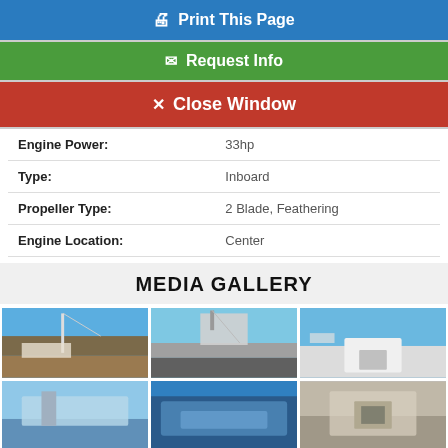🖨 Print This Page
✉ Request Info
✕ Close Window
| Field | Value |
| --- | --- |
| Engine Power: | 33hp |
| Type: | Inboard |
| Propeller Type: | 2 Blade, Feathering |
| Engine Location: | Center |
MEDIA GALLERY
[Figure (photo): Photo gallery grid showing 6 boat photos in a marina/dock setting]
[Figure (photo): Sailboat at dock from the side]
[Figure (photo): Rigging and mast from deck looking up]
[Figure (photo): Deck view looking forward]
[Figure (photo): Cockpit interior view]
[Figure (photo): Bimini top view]
[Figure (photo): Electronics/instruments close-up]